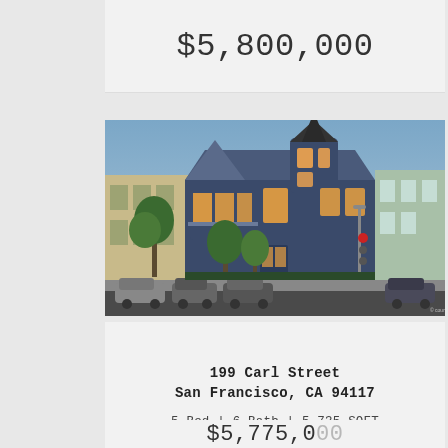$5,800,000
[Figure (photo): Exterior photo of a Victorian-style house at 199 Carl Street, San Francisco. The house is blue with a prominent pointed turret tower, bay windows with warm glowing lights, surrounding trees, parked cars on the street, and neighboring buildings visible on either side. Dusk/evening lighting.]
199 Carl Street
San Francisco, CA 94117
5 Bed | 6 Bath | 5,735 SQFT
$5,775,000